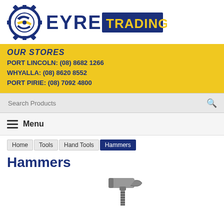[Figure (logo): Eyre Trading logo with gear icon on the left and 'EYRE TRADING' text where TRADING is on a dark blue background]
OUR STORES
PORT LINCOLN: (08) 8682 1266
WHYALLA: (08) 8620 8552
PORT PIRIE: (08) 7092 4800
Search Products
Menu
Home | Tools | Hand Tools | Hammers
Hammers
[Figure (photo): Partial image of a claw hammer with metal head and striped handle, visible at bottom of page]